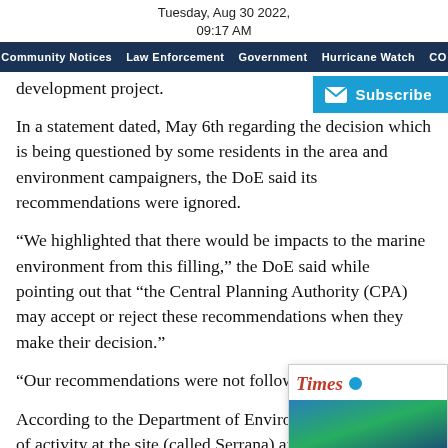Tuesday, Aug 30 2022,
09:17 AM
Community Notices  Law Enforcement  Government  Hurricane Watch  CO...
development project.
In a statement dated, May 6th regarding the decision which is being questioned by some residents in the area and environment campaigners, the DoE said its recommendations were ignored.
“We highlighted that there would be impacts to the marine environment from this filling,” the DoE said while pointing out that “the Central Planning Authority (CPA) may accept or reject these recommendations when they make their decision.”
“Our recommendations were not followed,” the DoE said.
According to the Department of Environment, it was aware of activity at the site (called Serrana) and sent Conservation Officers to assess the site.
The DoE said it was previously consulted on plans for the development in 2019, which included partially filling the
[Figure (screenshot): Subscribe button with envelope icon on blue background]